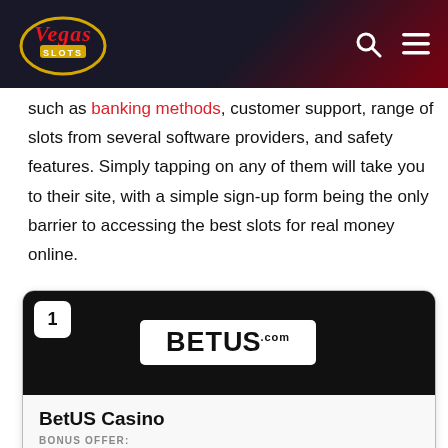Vegas Slots
such as banking methods, customer support, range of slots from several software providers, and safety features. Simply tapping on any of them will take you to their site, with a simple sign-up form being the only barrier to accessing the best slots for real money online.
1
[Figure (logo): BetUS.com logo on black background]
BetUS Casino
BONUS OFFER:
150% up to $3125
AVAILABLE COUNTRIES